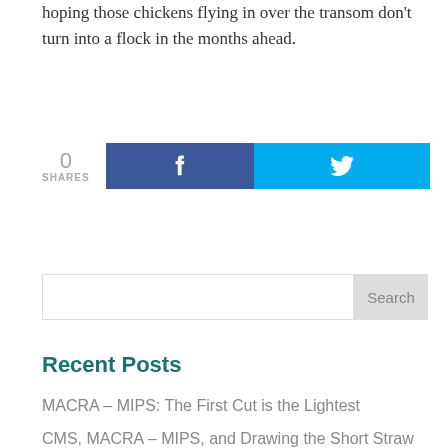hoping those chickens flying in over the transom don't turn into a flock in the months ahead.
0 SHARES
[Figure (other): Social share buttons: Facebook (blue) and Twitter (cyan) buttons side by side with share count of 0]
[Figure (other): Search bar with text input and Search button]
Recent Posts
MACRA – MIPS: The First Cut is the Lightest
CMS, MACRA – MIPS, and Drawing the Short Straw